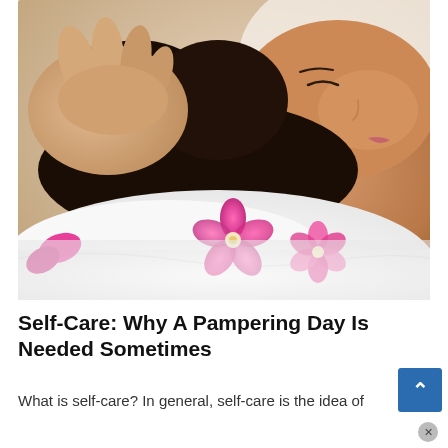[Figure (photo): A woman lying on a white towel with a pink orchid flower near her neck, receiving a head/facial massage from a therapist's hands. Spa and self-care setting with white background.]
Self-Care: Why A Pampering Day Is Needed Sometimes
What is self-care? In general, self-care is the idea of